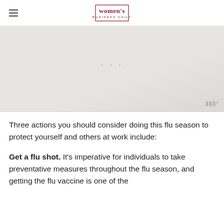women's BUSINESS DAILY
[Figure (photo): Large image placeholder area, light gray background with faint content, watermark icon at bottom right showing 'III°' symbol]
Three actions you should consider doing this flu season to protect yourself and others at work include:
Get a flu shot. It's imperative for individuals to take preventative measures throughout the flu season, and getting the flu vaccine is one of the